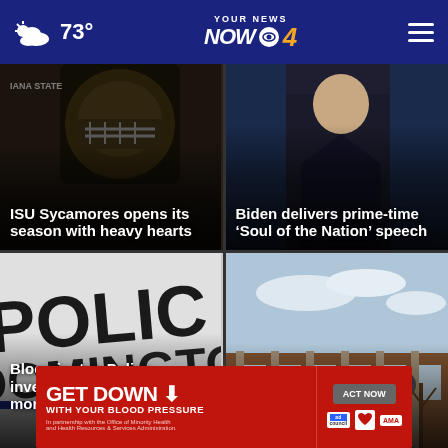73° | YOUR NEWS NOW CBS 4
[Figure (photo): ISU Sycamores football helmet and gear photo with dark background]
ISU Sycamores opens its season with heavy hearts
[Figure (photo): Biden in dark suit delivering a speech, prime-time address]
Biden delivers prime-time ‘Soul of the Nation’ speech
[Figure (photo): Bloomington Police car door with POLICE text visible]
Bloomington Police investigate Thursday morning shooting
[Figure (photo): Exterior of a brick building, city building photo]
Settlement with City …
[Figure (infographic): Advertisement: GET DOWN WITH YOUR BLOOD PRESSURE - ACT NOW - In partnership with the Office of Minority Health and Health Resources & Services Administration. Ad Council, American Heart Association, AMA logos.]